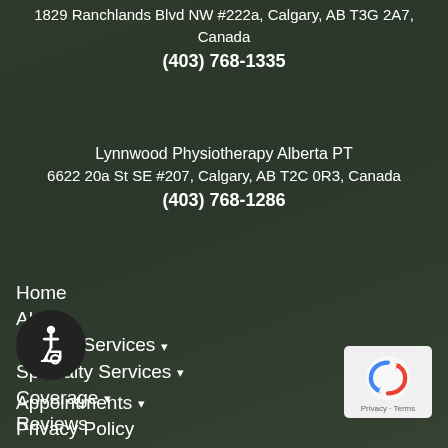1829 Ranchlands Blvd NW #222a, Calgary, AB T3G 2A7, Canada
(403) 768-1335
Lynnwood Physiotherapy Alberta PT
6622 20a St SE #207, Calgary, AB T2C 0R3, Canada
(403) 768-1286
Home
About
Clinical Services ▾
Specialty Services ▾
Coverage ▾
Reviews
Appointments ▾
Privacy Policy
[Figure (illustration): Accessibility icon (wheelchair user) in a dark circular button]
[Figure (logo): Google reCAPTCHA badge with Privacy and Terms links]